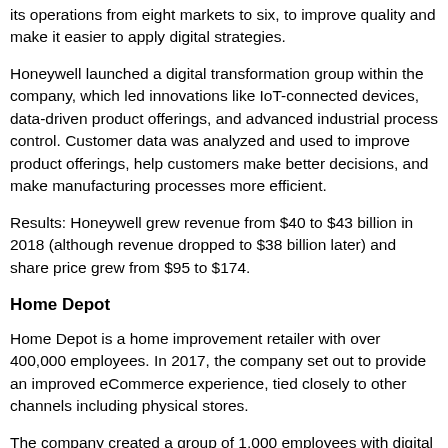its operations from eight markets to six, to improve quality and make it easier to apply digital strategies.
Honeywell launched a digital transformation group within the company, which led innovations like IoT-connected devices, data-driven product offerings, and advanced industrial process control. Customer data was analyzed and used to improve product offerings, help customers make better decisions, and make manufacturing processes more efficient.
Results: Honeywell grew revenue from $40 to $43 billion in 2018 (although revenue dropped to $38 billion later) and share price grew from $95 to $174.
Home Depot
Home Depot is a home improvement retailer with over 400,000 employees. In 2017, the company set out to provide an improved eCommerce experience, tied closely to other channels including physical stores.
The company created a group of 1,000 employees with digital